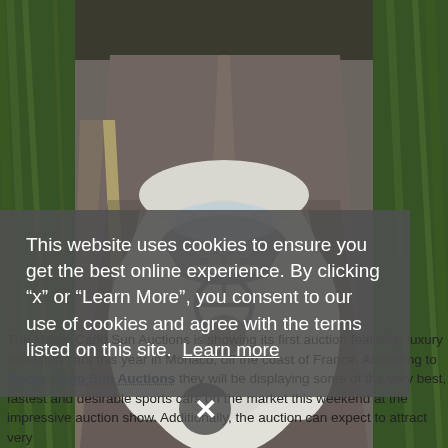[Figure (photo): Aerial/overhead view of a white open-top sports car being driven at speed on a winding road through a green tree-lined route, motion blur visible on the trees and road edges. Driver visible from above inside cockpit with dashboard gauges.]
This website uses cookies to ensure you get the best online experience. By clicking “x” or “Learn More”, you consent to our use of cookies and agree with the terms listed on this site.  Learn more
The Monte Carlo Sun Auctions is showing its first auction featuring luxury and sport cars this year in Monaco, off the coast of France. According to Monte Carlo Sun Auctions they will be displaying some of the very best, fastest and desirable sports cars on the market this weekend at the impressive auction show. Additionally, the auction can expect to attract very